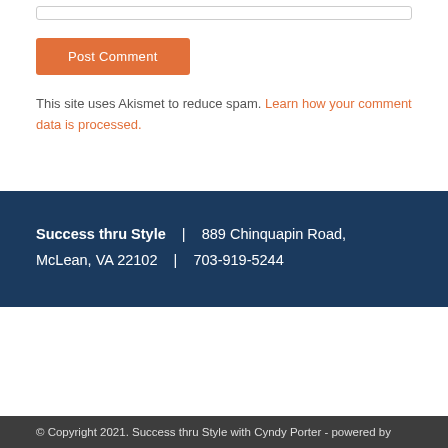Post Comment
This site uses Akismet to reduce spam. Learn how your comment data is processed.
Success thru Style | 889 Chinquapin Road, McLean, VA 22102 | 703-919-5244
© Copyright 2021. Success thru Style with Cyndy Porter - powered by